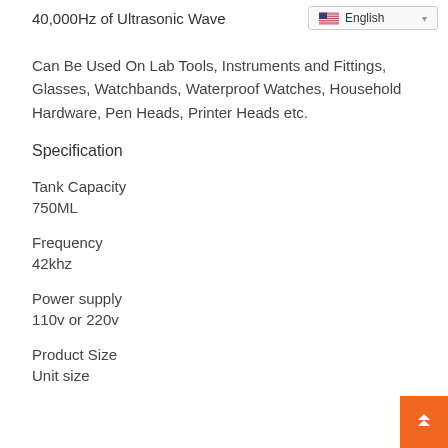40,000Hz of Ultrasonic Wave
English
Can Be Used On Lab Tools, Instruments and Fittings, Glasses, Watchbands, Waterproof Watches, Household Hardware, Pen Heads, Printer Heads etc.
Specification
Tank Capacity
750ML
Frequency
42khz
Power supply
110v or 220v
Product Size
Unit size